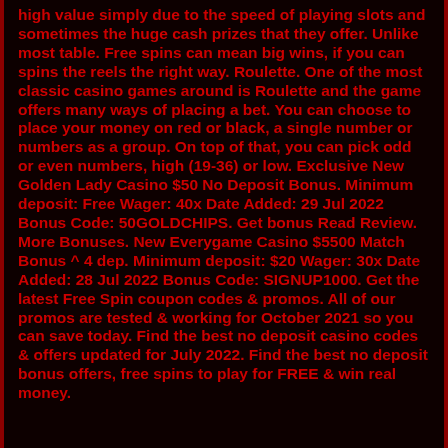high value simply due to the speed of playing slots and sometimes the huge cash prizes that they offer. Unlike most table. Free spins can mean big wins, if you can spins the reels the right way. Roulette. One of the most classic casino games around is Roulette and the game offers many ways of placing a bet. You can choose to place your money on red or black, a single number or numbers as a group. On top of that, you can pick odd or even numbers, high (19-36) or low. Exclusive New Golden Lady Casino $50 No Deposit Bonus. Minimum deposit: Free Wager: 40x Date Added: 29 Jul 2022 Bonus Code: 50GOLDCHIPS. Get bonus Read Review. More Bonuses. New Everygame Casino $5500 Match Bonus ^ 4 dep. Minimum deposit: $20 Wager: 30x Date Added: 28 Jul 2022 Bonus Code: SIGNUP1000. Get the latest Free Spin coupon codes & promos. All of our promos are tested & working for October 2021 so you can save today. Find the best no deposit casino codes & offers updated for July 2022. Find the best no deposit bonus offers, free spins to play for FREE & win real money.